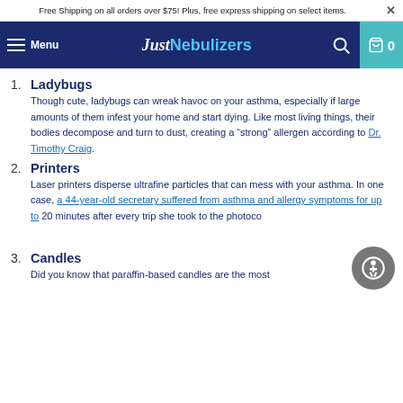Free Shipping on all orders over $75! Plus, free express shipping on select items.
Menu | Just Nebulizers | 0
1. Ladybugs
Though cute, ladybugs can wreak havoc on your asthma, especially if large amounts of them infest your home and start dying. Like most living things, their bodies decompose and turn to dust, creating a “strong” allergen according to Dr. Timothy Craig.
2. Printers
Laser printers disperse ultrafine particles that can mess with your asthma. In one case, a 44-year-old secretary suffered from asthma and allergy symptoms for up to 20 minutes after every trip she took to the photoco…
3. Candles
Did you know that paraffin-based candles are the most